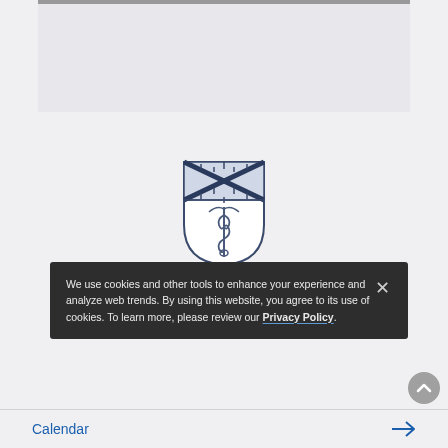[Figure (screenshot): Top portion of a web page showing a gray content area with a dark top bar, part of Yale School of Medicine website]
[Figure (logo): Yale School of Medicine shield logo featuring a cross pattern and caduceus (staff with serpent), in blue and white]
Yale School of Medicine
We use cookies and other tools to enhance your experience and analyze web trends. By using this website, you agree to its use of cookies. To learn more, please review our Privacy Policy.
Calendar